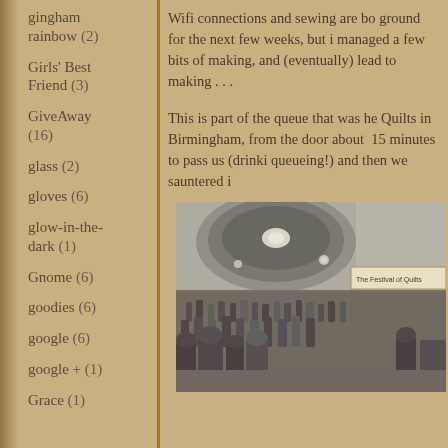gingham rainbow (2)
Girls' Best Friend (3)
GiveAway (16)
glass (2)
gloves (6)
glow-in-the-dark (1)
Gnome (6)
goodies (6)
google (6)
google + (1)
Grace (1)
Wifi connections and sewing are bo ground for the next few weeks, but i managed a few bits of making, and (eventually) lead to making . . .
This is part of the queue that was he Quilts in Birmingham, from the door about 15 minutes to pass us (drinki queueing!) and then we sauntered i
[Figure (photo): Interior of the Festival of Quilts venue in Birmingham showing a large crowd of visitors in a hall with circular ceiling lights and a banner reading 'The Festival of Quilts']